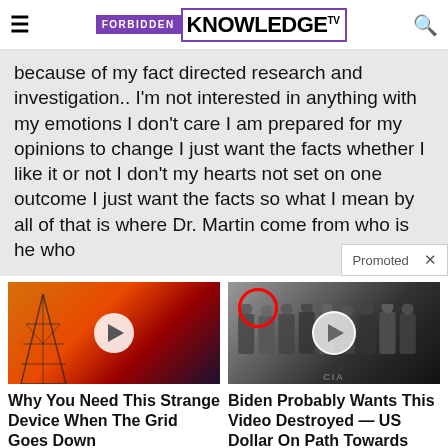FORBIDDEN KNOWLEDGE TV
because of my fact directed research and investigation.. I'm not interested in anything with my emotions I don't care I am prepared for my opinions to change I just want the facts whether I like it or not I don't my hearts not set on one outcome I just want the facts so what I mean by all of that is where Dr. Martin come from who is he who
[Figure (photo): Thumbnail of electric power transmission tower against orange/red sky with play button overlay]
Why You Need This Strange Device When The Grid Goes Down
Watch The Video
[Figure (photo): Thumbnail of group of men in suits in official setting with CIA-style floor, red circle highlight on one figure, play button overlay]
Biden Probably Wants This Video Destroyed — US Dollar On Path Towards Replacement?
Watch The Video